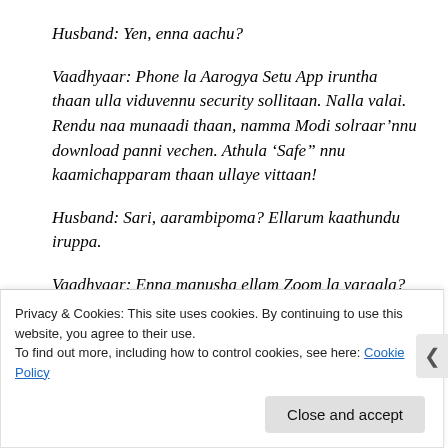Husband: Yen, enna aachu?
Vaadhyaar: Phone la Aarogya Setu App iruntha thaan ulla viduvennu security sollitaan. Nalla valai. Rendu naa munaadi thaan, namma Modi solraar’nnu download panni vechen. Athula ‘Safe” nnu kaamichapparam thaan ullaye vittaan!
Husband: Sari, aarambipoma? Ellarum kaathundu iruppa.
Vaadhyaar: Enna manusha ellam Zoom la varaala?
Privacy & Cookies: This site uses cookies. By continuing to use this website, you agree to their use.
To find out more, including how to control cookies, see here: Cookie Policy